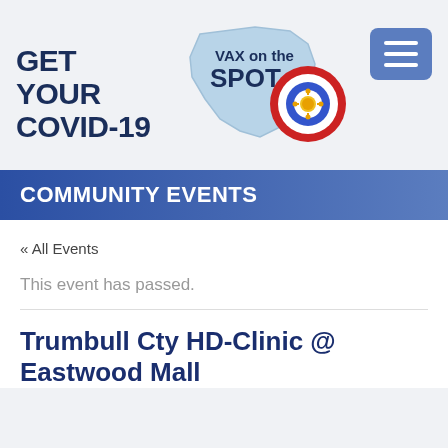[Figure (logo): Vax on the Spot COVID-19 vaccination campaign logo featuring Ohio state outline in light blue, text 'VAX on the SPOT', bullseye target with COVID virus icon, alongside text 'GET YOUR COVID-19']
COMMUNITY EVENTS
« All Events
This event has passed.
Trumbull Cty HD-Clinic @ Eastwood Mall